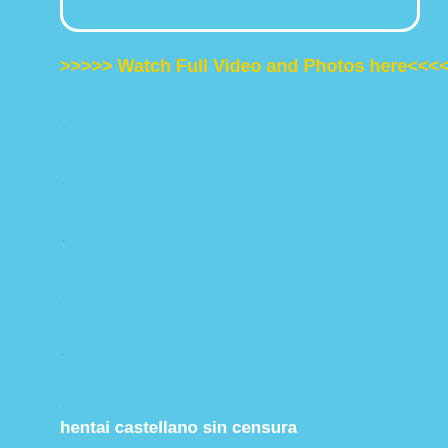[Figure (other): Rounded rectangle border at top of page, white outline, open top]
>>>>> Watch Full Video and Photos here<<<<
·
·
·
·
·
·
·
hentai castellano sin censura